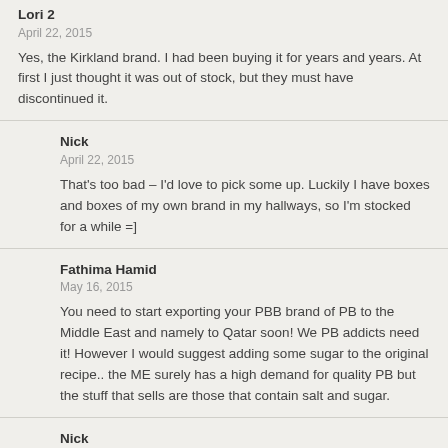Lori 2
April 22, 2015

Yes, the Kirkland brand. I had been buying it for years and years. At first I just thought it was out of stock, but they must have discontinued it.
Nick
April 22, 2015

That's too bad – I'd love to pick some up. Luckily I have boxes and boxes of my own brand in my hallways, so I'm stocked for a while =]
Fathima Hamid
May 16, 2015

You need to start exporting your PBB brand of PB to the Middle East and namely to Qatar soon! We PB addicts need it! However I would suggest adding some sugar to the original recipe.. the ME surely has a high demand for quality PB but the stuff that sells are those that contain salt and sugar.
Nick
May 19, 2015